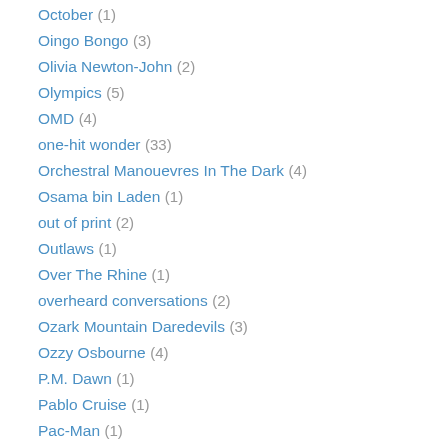October (1)
Oingo Bongo (3)
Olivia Newton-John (2)
Olympics (5)
OMD (4)
one-hit wonder (33)
Orchestral Manouevres In The Dark (4)
Osama bin Laden (1)
out of print (2)
Outlaws (1)
Over The Rhine (1)
overheard conversations (2)
Ozark Mountain Daredevils (3)
Ozzy Osbourne (4)
P.M. Dawn (1)
Pablo Cruise (1)
Pac-Man (1)
paisley pop (1)
paparazzi (2)
Paris (1)